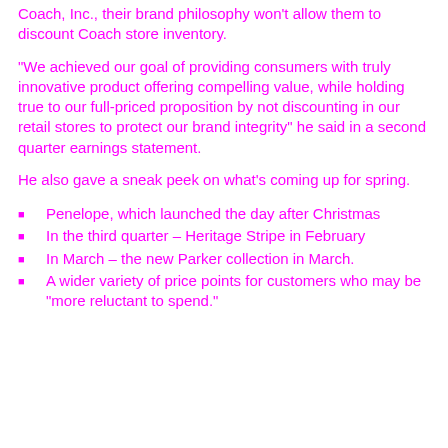Coach, Inc., their brand philosophy won't allow them to discount Coach store inventory.
“We achieved our goal of providing consumers with truly innovative product offering compelling value, while holding true to our full-priced proposition by not discounting in our retail stores to protect our brand integrity” he said in a second quarter earnings statement.
He also gave a sneak peek on what’s coming up for spring.
Penelope, which launched the day after Christmas
In the third quarter – Heritage Stripe in February
In March – the new Parker collection in March.
A wider variety of price points for customers who may be “more reluctant to spend.”